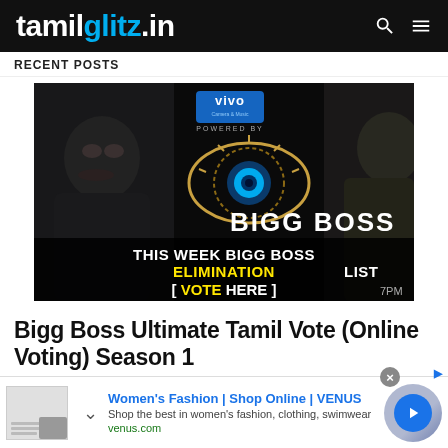tamilglitz.in
RECENT POSTS
[Figure (photo): Bigg Boss Tamil promotional banner with Kamal Haasan, Bigg Boss eye logo, VIVO sponsor, text: THIS WEEK BIGG BOSS ELIMINATION LIST [ VOTE HERE ]]
Bigg Boss Ultimate Tamil Vote (Online Voting) Season 1
Women's Fashion | Shop Online | VENUS — Shop the best in women's fashion, clothing, swimwear — venus.com